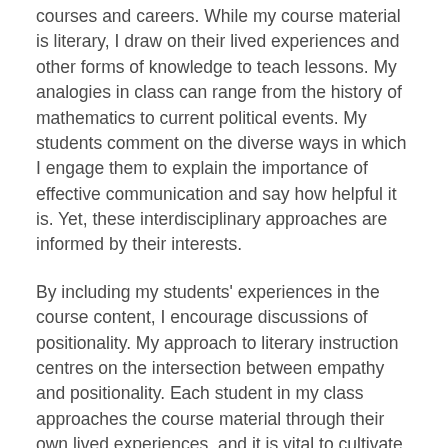courses and careers. While my course material is literary, I draw on their lived experiences and other forms of knowledge to teach lessons. My analogies in class can range from the history of mathematics to current political events. My students comment on the diverse ways in which I engage them to explain the importance of effective communication and say how helpful it is. Yet, these interdisciplinary approaches are informed by their interests.
By including my students' experiences in the course content, I encourage discussions of positionality. My approach to literary instruction centres on the intersection between empathy and positionality. Each student in my class approaches the course material through their own lived experiences, and it is vital to cultivate an inclusive space for each student to express their unique voice. Fostering the diversity of the classroom encourages open-mindedness and the